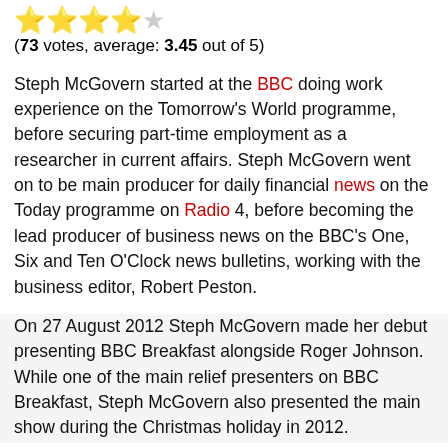[Figure (other): Star rating display: 4 gold stars and 1 gray star]
(73 votes, average: 3.45 out of 5)
Steph McGovern started at the BBC doing work experience on the Tomorrow's World programme, before securing part-time employment as a researcher in current affairs. Steph McGovern went on to be main producer for daily financial news on the Today programme on Radio 4, before becoming the lead producer of business news on the BBC's One, Six and Ten O'Clock news bulletins, working with the business editor, Robert Peston.
On 27 August 2012 Steph McGovern made her debut presenting BBC Breakfast alongside Roger Johnson. While one of the main relief presenters on BBC Breakfast, Steph McGovern also presented the main show during the Christmas holiday in 2012.
Steph McGovern has undertaken a wide range of activities in her business-reporting, such as bus-driving and visiting shops to discuss rent payments on Christmas Eve 2012. Steph McGovern was heard swearing off-camera in October 2012, which resulted in Susanna Reid giving an apology on air. In 2010 Steph McGovern began presenting for BBC Radio 5 Live, which moved